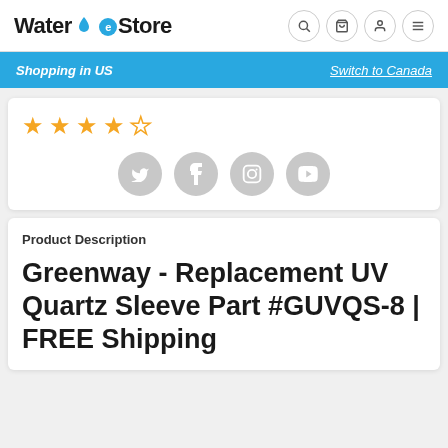Water eStore
Shopping in US
Switch to Canada
[Figure (other): Star rating: 4 out of 5 stars (gold outline stars)]
[Figure (other): Social media icons: Twitter, Facebook, Instagram, YouTube]
Product Description
Greenway - Replacement UV Quartz Sleeve Part #GUVQS-8 | FREE Shipping